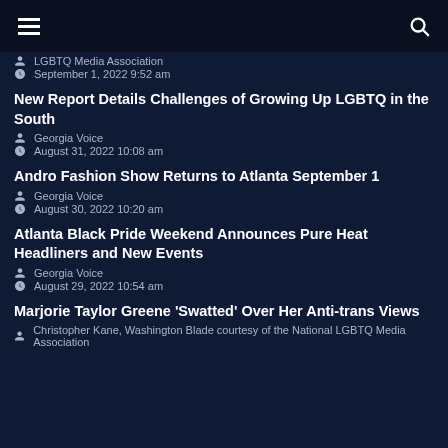≡   🔍
LGBTQ Media Association
September 1, 2022 9:52 am
New Report Details Challenges of Growing Up LGBTQ in the South
Georgia Voice
August 31, 2022 10:08 am
Andro Fashion Show Returns to Atlanta September 1
Georgia Voice
August 30, 2022 10:20 am
Atlanta Black Pride Weekend Announces Pure Heat Headliners and New Events
Georgia Voice
August 29, 2022 10:54 am
Marjorie Taylor Greene 'Swatted' Over Her Anti-trans Views
Christopher Kane, Washington Blade courtesy of the National LGBTQ Media Association